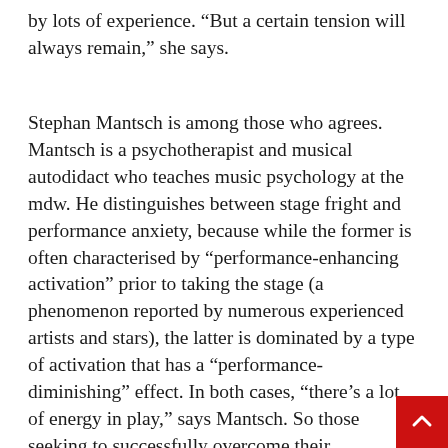by lots of experience. “But a certain tension will always remain,” she says.
Stephan Mantsch is among those who agrees. Mantsch is a psychotherapist and musical autodidact who teaches music psychology at the mdw. He distinguishes between stage fright and performance anxiety, because while the former is often characterised by “performance-enhancing activation” prior to taking the stage (a phenomenon reported by numerous experienced artists and stars), the latter is dominated by a type of activation that has a “performance-diminishing” effect. In both cases, “there’s a lot of energy in play,” says Mantsch. So those seeking to successfully overcome their performance anxiety should not “fight it, but rather move along with it. … It’s about making a shift away from self-control and toward a freedom of manipulation to...